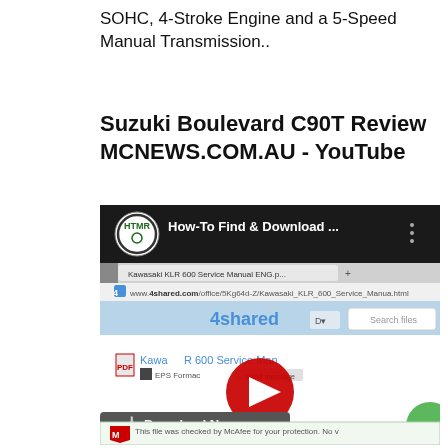SOHC, 4-Stroke Engine and a 5-Speed Manual Transmission..
Suzuki Boulevard C90T Review MCNEWS.COM.AU - YouTube
[Figure (screenshot): Screenshot of a YouTube video thumbnail showing HTMR logo and text 'How-To Find & Download ...' with a browser showing 4shared.com page for Kawasaki KLR 600 Service Manual]
[Figure (screenshot): Screenshot showing a YouTube play button overlay on a 4shared download page for Kawasaki KLR 600 Service Manual with Download Now button and McAfee security notice]